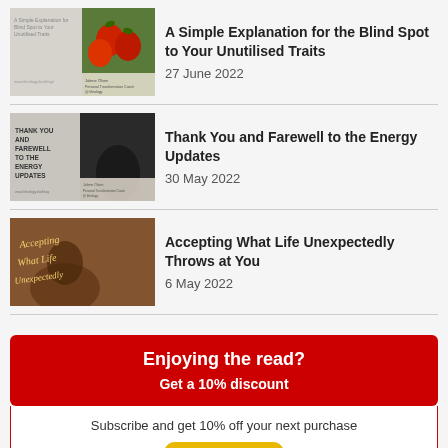[Figure (photo): Thumbnail image of a blog post about blind spots - showing apples and blog text overlay]
A Simple Explanation for the Blind Spot to Your Unutilised Traits
27 June 2022
[Figure (photo): Thumbnail image of a dark farewell blog post with text THANK YOU AND FAREWELL TO THE ENERGY UPDATES]
Thank You and Farewell to the Energy Updates
30 May 2022
[Figure (photo): Thumbnail image with cursive text 'Accepting What Life Unexpectedly' over a warm brown background with a woman]
Accepting What Life Unexpectedly Throws at You
6 May 2022
Enjoying the read?
Get a 10% discount
Subscribe and get 10% off your next purchase